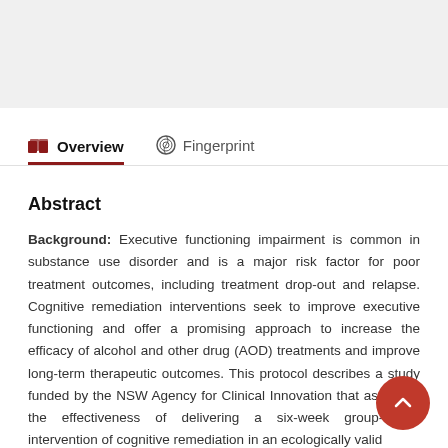[Figure (screenshot): Gray header area at top of page, likely a screenshot of a web interface]
Overview   Fingerprint
Abstract
Background: Executive functioning impairment is common in substance use disorder and is a major risk factor for poor treatment outcomes, including treatment drop-out and relapse. Cognitive remediation interventions seek to improve executive functioning and offer a promising approach to increase the efficacy of alcohol and other drug (AOD) treatments and improve long-term therapeutic outcomes. This protocol describes a study funded by the NSW Agency for Clinical Innovation that assesses the effectiveness of delivering a six-week group-based intervention of cognitive remediation in an ecologically valid